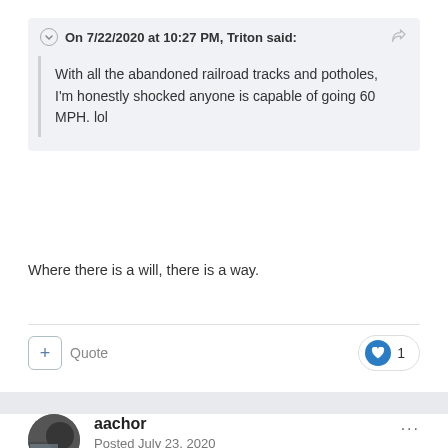On 7/22/2020 at 10:27 PM, Triton said:
With all the abandoned railroad tracks and potholes, I'm honestly shocked anyone is capable of going 60 MPH. lol
Where there is a will, there is a way.
+ Quote
aachor
Posted July 23, 2020